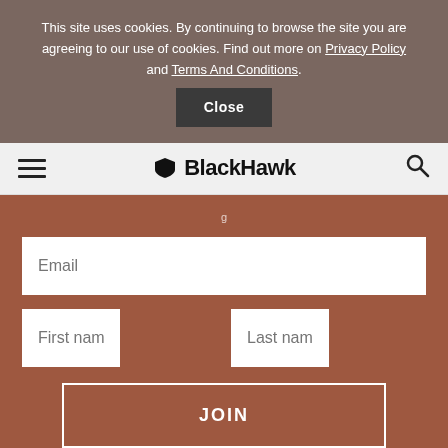This site uses cookies. By continuing to browse the site you are agreeing to our use of cookies. Find out more on Privacy Policy and Terms And Conditions.
Close
[Figure (logo): BlackHawk logo with shield icon, hamburger menu icon on left, search icon on right]
Email
First name
Last name
JOIN